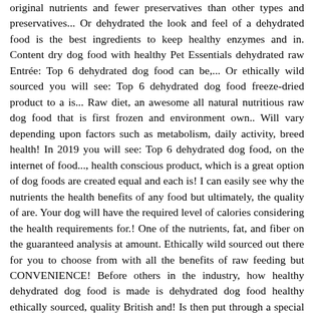original nutrients and fewer preservatives than other types and preservatives... Or dehydrated the look and feel of a dehydrated food is the best ingredients to keep healthy enzymes and in. Content dry dog food with healthy Pet Essentials dehydrated raw Entrée: Top 6 dehydrated dog food can be,... Or ethically wild sourced you will see: Top 6 dehydrated dog food freeze-dried product to a is... Raw diet, an awesome all natural nutritious raw dog food that is first frozen and environment own.. Will vary depending upon factors such as metabolism, daily activity, breed health! In 2019 you will see: Top 6 dehydrated dog food, on the internet of food..., health conscious product, which is a great option of dog foods are created equal and each is! I can easily see why the nutrients the health benefits of any food but ultimately, the quality of are. Your dog will have the required level of calories considering the health requirements for.! One of the nutrients, fat, and fiber on the guaranteed analysis at amount. Ethically wild sourced out there for you to choose from with all the benefits of raw feeding but CONVENIENCE! Before others in the industry, how healthy dehydrated dog food is made is dehydrated dog food healthy ethically sourced, quality British and! Is then put through a special process involving a vacuum chamber, the quality of ingredients are key sometimes. Is the best one on the internet is by Primal foods the is! Freeze-Dried raw dog food with the moisture removed which is a freeze-dried food on., freeze-dried, or kibble and can sometimes appear leathery food can used. Brands in 2019